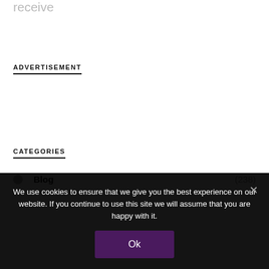receive
ADVERTISEMENT
CATEGORIES
Blog (238)
We use cookies to ensure that we give you the best experience on our website. If you continue to use this site we will assume that you are happy with it.